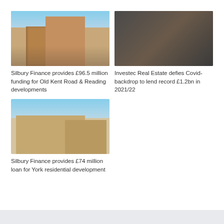[Figure (photo): Exterior architectural rendering of a tall residential/mixed-use building with brick facade and greenery in the foreground]
Silbury Finance provides £96.5 million funding for Old Kent Road & Reading developments
[Figure (photo): Man in a dark suit with a yellow tie seated in a modern chair against a wooden backdrop]
Investec Real Estate defies Covid-backdrop to lend record £1.2bn in 2021/22
[Figure (photo): Exterior rendering of a low-rise residential development with landscaped paths and trees]
Silbury Finance provides £74 million loan for York residential development